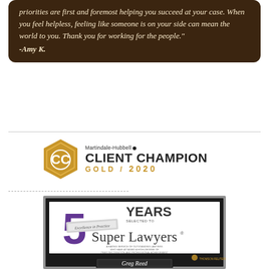priorities are first and foremost helping you succeed at your case. When you feel helpless, feeling like someone is on your side can mean the world to you. Thank you for working for the people." -Amy K.
[Figure (logo): Martindale-Hubbell Client Champion Gold / 2020 badge with gold hexagon logo]
[Figure (photo): Super Lawyers plaque showing '5 Years Selected to Super Lawyers' with Excellence in Practice ribbon, purple numeral 5, and Greg Reed name plate]